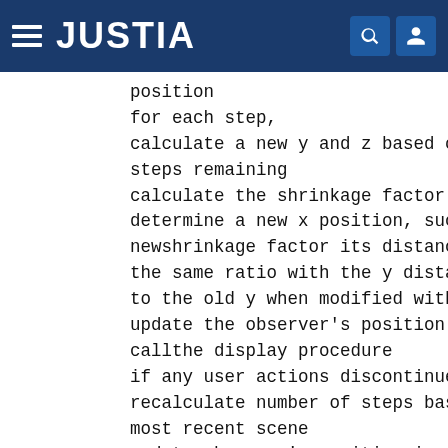JUSTIA
position
for each step,
calculate a new y and z based on the dist
steps remaining
calculate the shrinkage factor at that ne
determine a new x position, such that whe
newshrinkage factor its distance from the
the same ratio with the y distance as the
to the old y when modified with the old s
update the observer's position with the n
callthe display procedure
if any user actions discontinue zoom and
recalculate number of steps based on the
most recent scene
update observer's position in overview
Data change and update procedure
save observer's position in each scene...